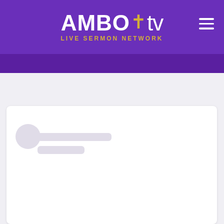[Figure (logo): AMBO tv LIVE SERMON NETWORK logo with purple background and hamburger menu icon]
[Figure (screenshot): Loading skeleton card with circular avatar placeholder and two rectangular text placeholders on a light gray page background]